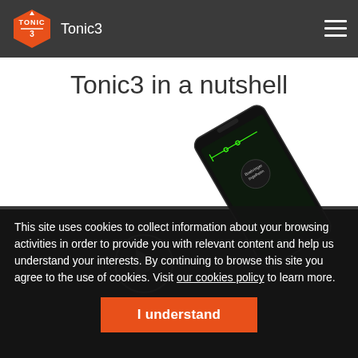Tonic3
Tonic3 in a nutshell
[Figure (photo): A smartphone shown at an angle displaying a Boehringer Ingelheim branded app screen with dark background and circuit-like graphics]
This site uses cookies to collect information about your browsing activities in order to provide you with relevant content and help us understand your interests. By continuing to browse this site you agree to the use of cookies. Visit our cookies policy to learn more.
I understand